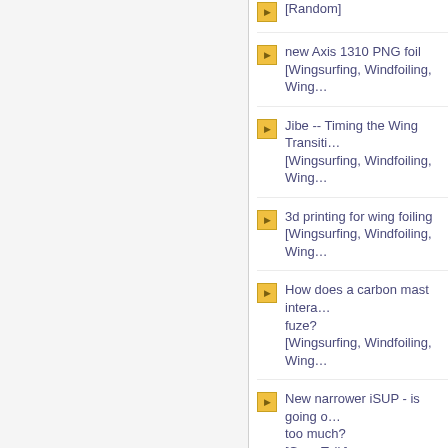[Random]
new Axis 1310 PNG foil
[Wingsurfing, Windfoiling, Wing…]
Jibe -- Timing the Wing Transit…
[Wingsurfing, Windfoiling, Wing…]
3d printing for wing foiling
[Wingsurfing, Windfoiling, Wing…]
How does a carbon mast intera… fuze?
[Wingsurfing, Windfoiling, Wing…]
New narrower iSUP - is going o… too much?
[Gear Talk]
Rethinking Quad
[Gear Talk]
Kalama Ez2 vs E3 SUP
[SUP General]
Future center fin in center fin c… ideas how to do that?
[Gear Talk]